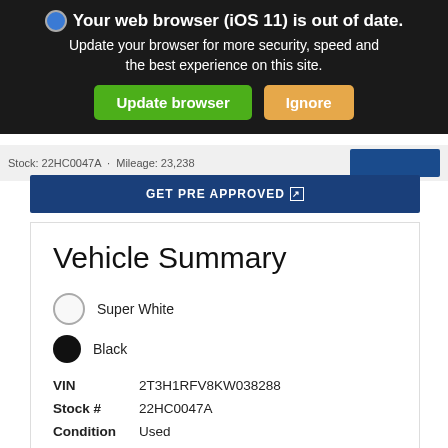Your web browser (iOS 11) is out of date. Update your browser for more security, speed and the best experience on this site.
Update browser   Ignore
Stock: 22HC0047A  ·  Mileage: 23,238
GET PRE APPROVED
Vehicle Summary
Super White
Black
VIN 2T3H1RFV8KW038288
Stock # 22HC0047A
Condition Used
Exterior Super White
Interior Black
Engine 2.5L 4-Cylinder DOHC Dual VVT-i
Drivetrain FWD